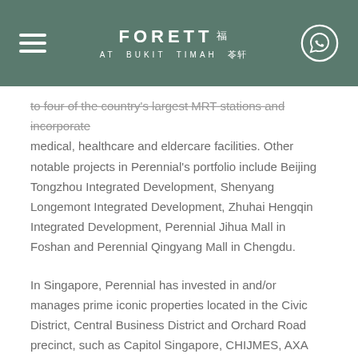FORETT AT BUKIT TIMAH
to four of the country's largest MRT stations and incorporate medical, healthcare and eldercare facilities. Other notable projects in Perennial's portfolio include Beijing Tongzhou Integrated Development, Shenyang Longemont Integrated Development, Zhuhai Hengqin Integrated Development, Perennial Jihua Mall in Foshan and Perennial Qingyang Mall in Chengdu.
In Singapore, Perennial has invested in and/or manages prime iconic properties located in the Civic District, Central Business District and Orchard Road precinct, such as Capitol Singapore, CHIJMES, AXA Tower, 111 Somerset, Chinatown Point and House of Tan Yeok Nee.